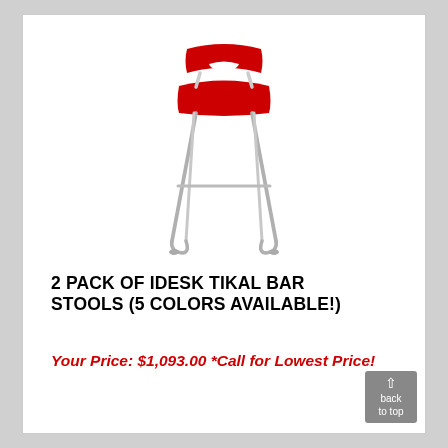[Figure (illustration): A red bar stool with a low curved back and sled-base chrome legs, product shot on white background]
2 PACK OF IDESK TIKAL BAR STOOLS (5 COLORS AVAILABLE!)
Your Price: $1,093.00 *Call for Lowest Price!